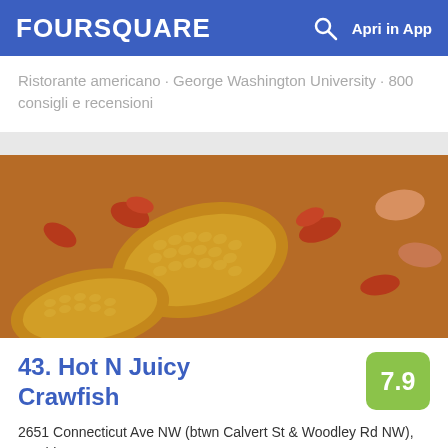FOURSQUARE  🔍  Apri in App
Ristorante americano · George Washington University · 800 consigli e recensioni
[Figure (photo): Photo of crawfish boil with corn on the cob, crawfish, and shrimp in seasoned sauce]
43. Hot N Juicy Crawfish
2651 Connecticut Ave NW (btwn Calvert St & Woodley Rd NW), Washington, D.C.
Ristorante creolo / cajun · Woodley Park · 83 consigli e recensioni